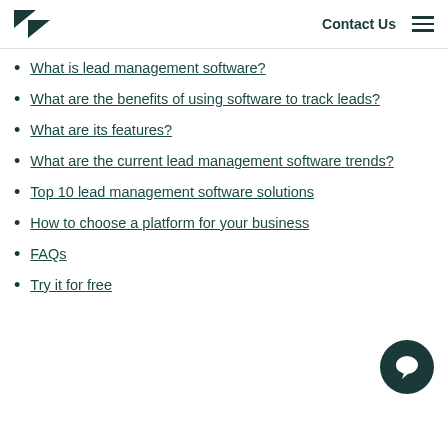Contact Us
What is lead management software?
What are the benefits of using software to track leads?
What are its features?
What are the current lead management software trends?
Top 10 lead management software solutions
How to choose a platform for your business
FAQs
Try it for free
[Figure (illustration): Chat/messaging button icon (dark teal circle with speech bubble icon)]